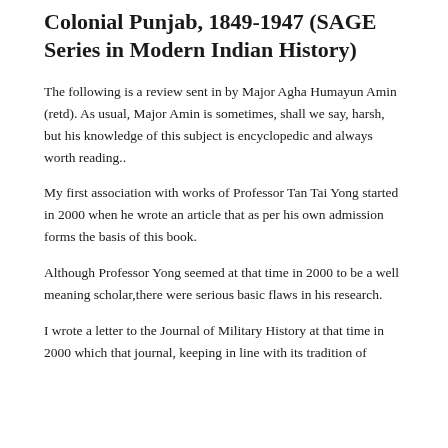Colonial Punjab, 1849-1947 (SAGE Series in Modern Indian History)
The following is a review sent in by Major Agha Humayun Amin (retd). As usual, Major Amin is sometimes, shall we say, harsh, but his knowledge of this subject is encyclopedic and always worth reading..
My first association with works of Professor Tan Tai Yong started in 2000 when he wrote an article that as per his own admission forms the basis of this book.
Although Professor Yong seemed at that time in 2000 to be a well meaning scholar,there were serious basic flaws in his research.
I wrote a letter to the Journal of Military History at that time in 2000 which that journal, keeping in line with its tradition of